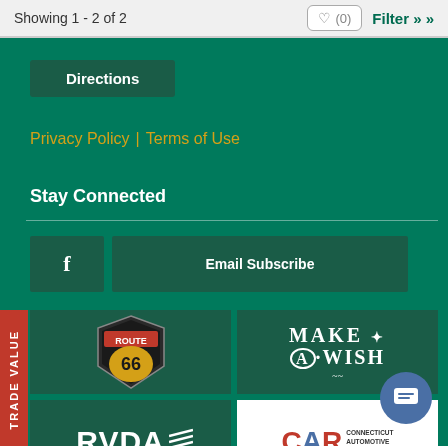Showing 1 - 2 of 2
(0)
Filter »
Directions
Privacy Policy | Terms of Use
Stay Connected
f
Email Subscribe
[Figure (logo): Route 66 highway shield logo with yellow and black coloring]
[Figure (logo): Make-A-Wish foundation logo in white text on green background]
[Figure (logo): RVDA logo in white text with American flag wave graphic on green background]
[Figure (logo): CAR Connecticut Automotive Retailers logo on white background with red white and blue initials]
TRADE VALUE